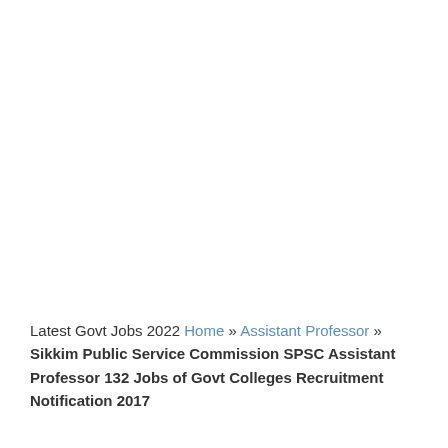Latest Govt Jobs 2022 Home » Assistant Professor » Sikkim Public Service Commission SPSC Assistant Professor 132 Jobs of Govt Colleges Recruitment Notification 2017